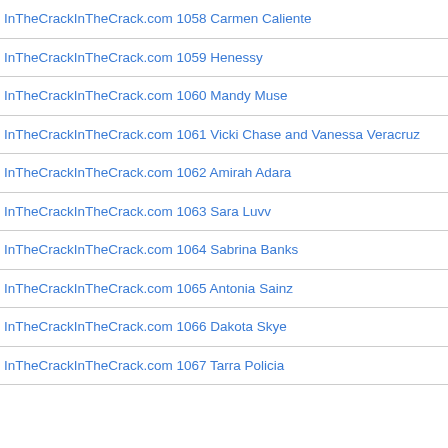InTheCrackInTheCrack.com 1058 Carmen Caliente
InTheCrackInTheCrack.com 1059 Henessy
InTheCrackInTheCrack.com 1060 Mandy Muse
InTheCrackInTheCrack.com 1061 Vicki Chase and Vanessa Veracruz
InTheCrackInTheCrack.com 1062 Amirah Adara
InTheCrackInTheCrack.com 1063 Sara Luvv
InTheCrackInTheCrack.com 1064 Sabrina Banks
InTheCrackInTheCrack.com 1065 Antonia Sainz
InTheCrackInTheCrack.com 1066 Dakota Skye
InTheCrackInTheCrack.com 1067 Tarra Policia